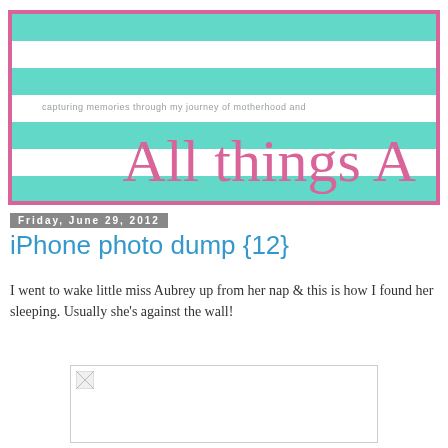[Figure (illustration): Blog header banner for 'All things A' with teal and white horizontal stripes, pink border, script font title, and subtitle 'capturing memories through my journey of motherhood and']
Friday, June 29, 2012
iPhone photo dump {12}
I went to wake little miss Aubrey up from her nap & this is how I found her sleeping. Usually she's against the wall!
[Figure (photo): A photo placeholder showing a broken image icon, representing a photo of Aubrey sleeping]